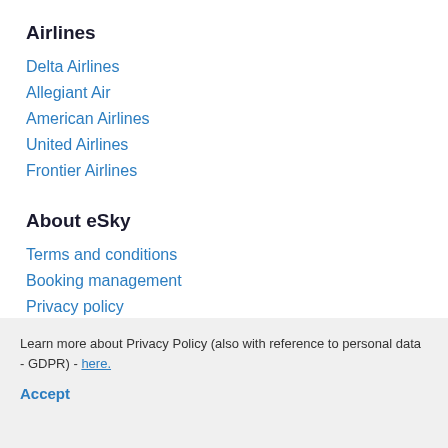Airlines
Delta Airlines
Allegiant Air
American Airlines
United Airlines
Frontier Airlines
About eSky
Terms and conditions
Booking management
Privacy policy
Support and contact
Learn more about Privacy Policy (also with reference to personal data - GDPR) - here.
Accept